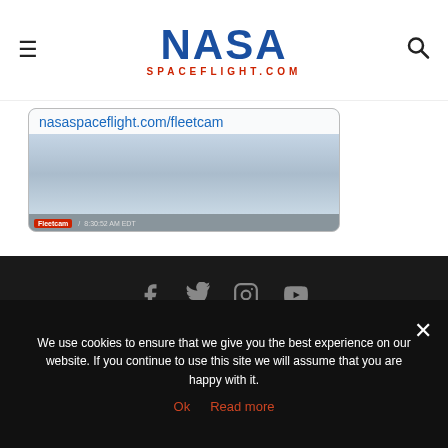NASA Spaceflight.com
[Figure (screenshot): Fleetcam screenshot showing nasaspaceflight.com/fleetcam with a cloudy sky image and a Fleetcam bar showing time 8:30:52 AM EDT]
Social icons: Facebook, Twitter, Instagram, YouTube
We use cookies to ensure that we give you the best experience on our website. If you continue to use this site we will assume that you are happy with it.
Ok   Read more